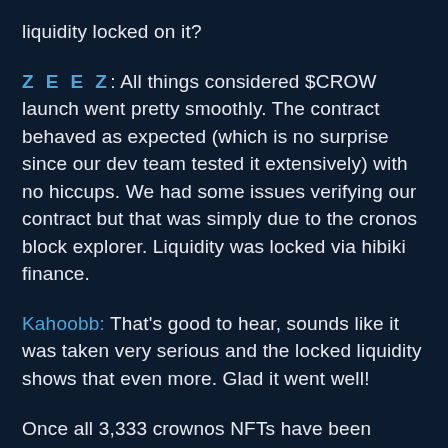liquidity locked on it?
ZEEZ: All things considered $CROW launch went pretty smoothly. The contract behaved as expected (which is no surprise since our dev team tested it extensively) with no hiccups. We had some issues verifying our contract but that was simply due to the cronos block explorer. Liquidity was locked via hibiki finance.
Kahoobb: That's good to hear, sounds like it was taken very serious and the locked liquidity shows that even more. Glad it went well!
Once all 3,333 crownos NFTs have been bought and the 12% tax reduces to 5%, does this mean there will be less buybacks and marketing as that's what